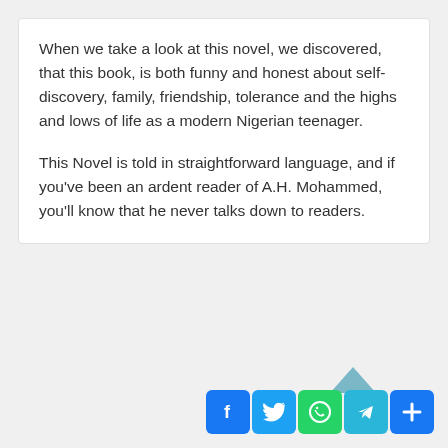When we take a look at this novel, we discovered, that this book, is both funny and honest about self-discovery, family, friendship, tolerance and the highs and lows of life as a modern Nigerian teenager.
This Novel is told in straightforward language, and if you've been an ardent reader of A.H. Mohammed, you'll know that he never talks down to readers.
[Figure (infographic): Social media share buttons: Facebook (blue), Twitter (light blue), WhatsApp (green), Telegram (cyan), Share/Plus (blue). A cyan upward-pointing arrow/chevron appears above the buttons.]